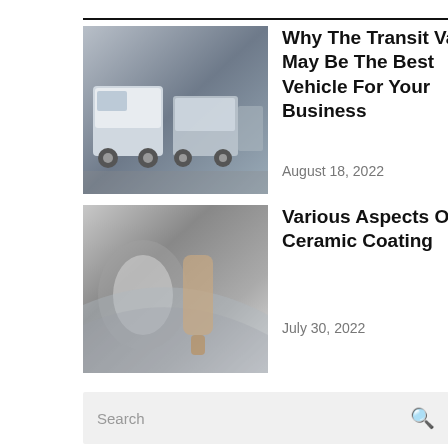[Figure (photo): Photo of Ford Transit vans parked in a lot]
Why The Transit Van May Be The Best Vehicle For Your Business
August 18, 2022
[Figure (photo): Photo of ceramic coating being applied to a car]
Various Aspects Of Ceramic Coating
July 30, 2022
Search
RECENT POSTS
Why The Transit Van May Be The Best Vehicle For Your Business August 18, 2022
Various Aspects Of Ceramic Coating July